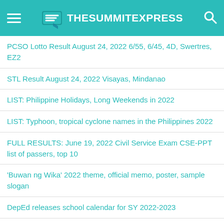TheSummitExpress
PCSO Lotto Result August 24, 2022 6/55, 6/45, 4D, Swertres, EZ2
STL Result August 24, 2022 Visayas, Mindanao
LIST: Philippine Holidays, Long Weekends in 2022
LIST: Typhoon, tropical cyclone names in the Philippines 2022
FULL RESULTS: June 19, 2022 Civil Service Exam CSE-PPT list of passers, top 10
'Buwan ng Wika' 2022 theme, official memo, poster, sample slogan
DepEd releases school calendar for SY 2022-2023
FULL RESULTS: August 2022 Mechanical Engineer ME, CPM board exam list of passers, top 10
Schedule, where to watch livestream: 2022 AVC Cup for Women